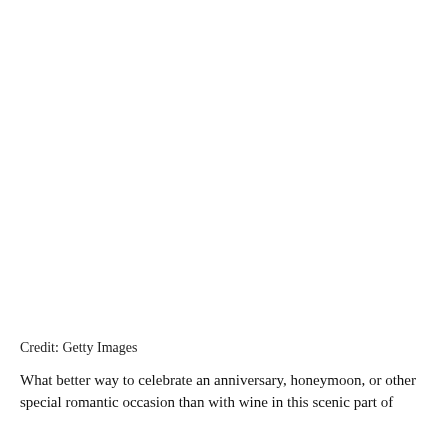[Figure (photo): Large white/blank image area at the top of the page (image content not visible)]
Credit: Getty Images
What better way to celebrate an anniversary, honeymoon, or other special romantic occasion than with wine in this scenic part of